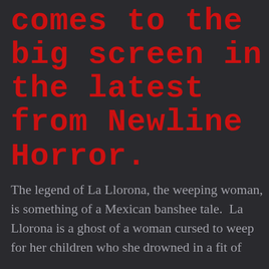comes to the big screen in the latest from Newline Horror.
The legend of La Llorona, the weeping woman, is something of a Mexican banshee tale.  La Llorona is a ghost of a woman cursed to weep for her children who she drowned in a fit of